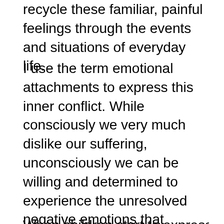recycle these familiar, painful feelings through the events and situations of everyday life.
I use the term emotional attachments to express this inner conflict. While consciously we very much dislike our suffering, unconsciously we can be willing and determined to experience the unresolved negative emotions that produce suffering. Vast numbers of people have these emotional attachments. The problem goes largely untreated because it's not well understood.
When children start to express emotions d